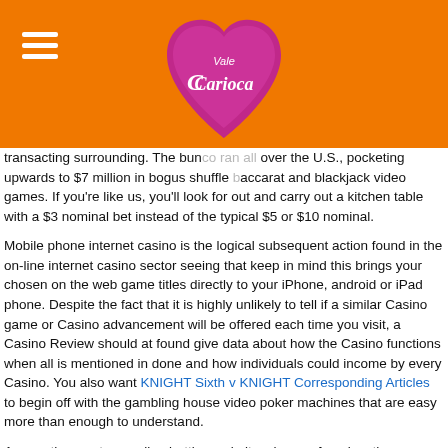[Figure (logo): Vale Carioca logo - pink/purple heart shape with white script text 'Vale Carioca' inside, on orange background header with hamburger menu icon on left]
transacting surrounding. The bunco ran all over the U.S., pocketing upwards to $7 million in bogus shuffle baccarat and blackjack video games. If you're like us, you'll look for out and carry out a kitchen table with a $3 nominal bet instead of the typical $5 or $10 nominal.
Mobile phone internet casino is the logical subsequent action found in the on-line internet casino sector seeing that keep in mind this brings your chosen on the web game titles directly to your iPhone, android or iPad phone. Despite the fact that it is highly unlikely to tell if a similar Casino game or Casino advancement will be offered each time you visit, a Casino Review should at found give data about how the Casino functions when all is mentioned in done and how individuals could income by every Casino. You also want KNIGHT Sixth v KNIGHT Corresponding Articles to begin off with the gambling house video poker machines that are easy more than enough to understand.
Among the umpteen online betting websites, has surfaced as the many trustworthy and authentic global web page to supply the gamers with genuine game working experience and gain. The Kahnawake Gaming Commission payment checks, first of all, the quality of software , the fairness of the settlements and game with casino users, and guaranteed protection against fraud. 24.05.2020 on you use a display clicking on this out this fantabulous on act 777 Willy Wonger Funds